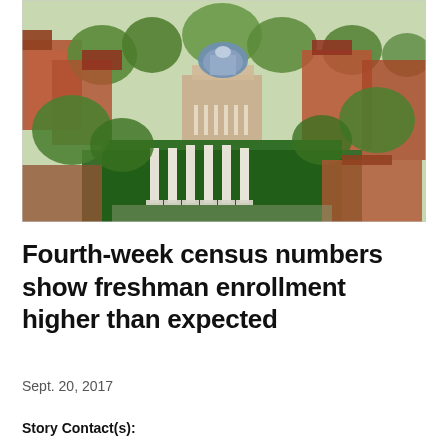[Figure (photo): Aerial photograph of a university campus showing a central domed building with white columns, surrounded by brick buildings and green trees with a large green lawn featuring prominent white columns/pillars in the foreground.]
Fourth-week census numbers show freshman enrollment higher than expected
Sept. 20, 2017
Story Contact(s):